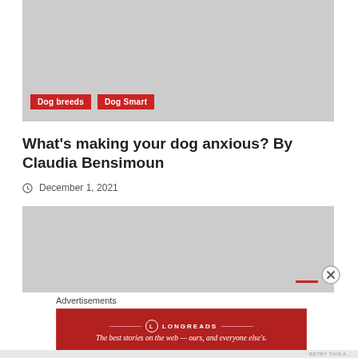[Figure (photo): Gray placeholder image at top of article]
Dog breeds
Dog Smart
What's making your dog anxious? By Claudia Bensimoun
December 1, 2021
[Figure (photo): Gray placeholder image below article title]
Advertisements
[Figure (other): Longreads advertisement banner: The best stories on the web — ours, and everyone else's.]